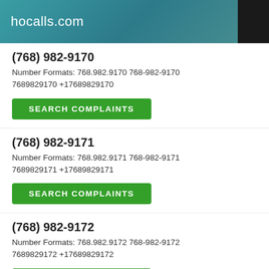hocalls.com
(768) 982-9170
Number Formats: 768.982.9170 768-982-9170 7689829170 +17689829170
SEARCH COMPLAINTS
(768) 982-9171
Number Formats: 768.982.9171 768-982-9171 7689829171 +17689829171
SEARCH COMPLAINTS
(768) 982-9172
Number Formats: 768.982.9172 768-982-9172 7689829172 +17689829172
SEARCH COMPLAINTS